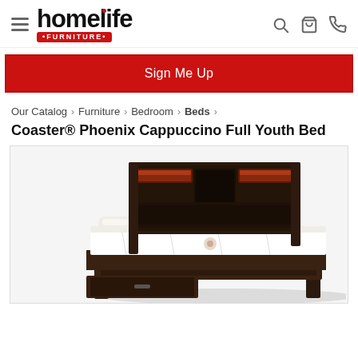homelife FURNITURE — navigation header with hamburger menu, search, cart, and phone icons
Sign Me Up
Our Catalog › Furniture › Bedroom › Beds ›
Coaster® Phoenix Cappuccino Full Youth Bed
[Figure (photo): Product photo of a dark cappuccino-finish full youth bed with storage bookcase headboard with ambient lighting, white bedding, against white background.]